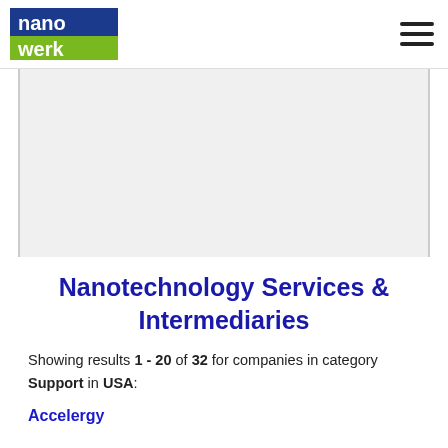nanowerk
[Figure (other): Advertisement placeholder area (gray background)]
Nanotechnology Services & Intermediaries
Showing results 1 - 20 of 32 for companies in category Support in USA:
Accelergy